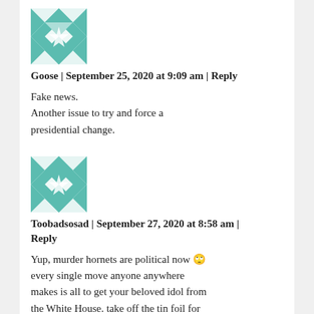[Figure (illustration): Teal/white geometric quilt-pattern avatar icon for user Goose, partially visible at top]
Goose | September 25, 2020 at 9:09 am | Reply
Fake news.
Another issue to try and force a presidential change.
[Figure (illustration): Teal/white geometric quilt-pattern avatar icon for user Toobadsosad]
Toobadsosad | September 27, 2020 at 8:58 am | Reply
Yup, murder hornets are political now 🙄 every single move anyone anywhere makes is all to get your beloved idol from the White House. take off the tin foil for the love of god 😂 he sucks, and people